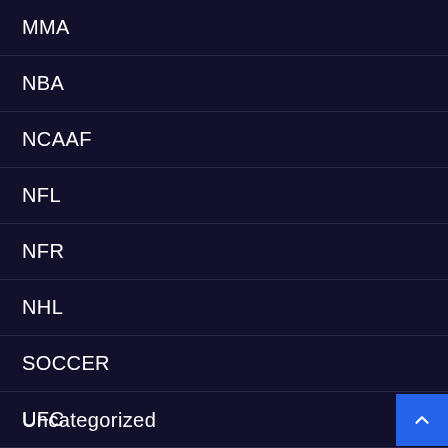MMA
NBA
NCAAF
NFL
NFR
NHL
SOCCER
UFC
Uncategorized